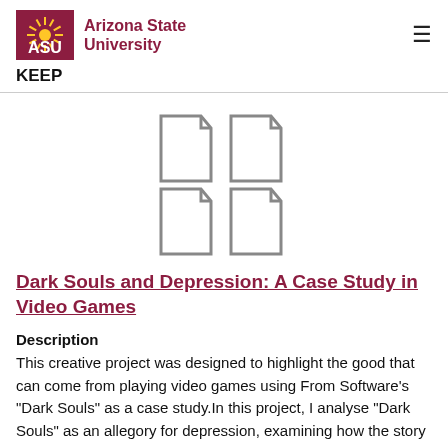[Figure (logo): Arizona State University logo with sunburst icon and text 'ASU Arizona State University']
KEEP
[Figure (illustration): Four document/file icons arranged in a 2x2 grid]
Dark Souls and Depression: A Case Study in Video Games
Description
This creative project was designed to highlight the good that can come from playing video games using From Software's "Dark Souls" as a case study.In this project, I analyse "Dark Souls" as an allegory for depression, examining how the story